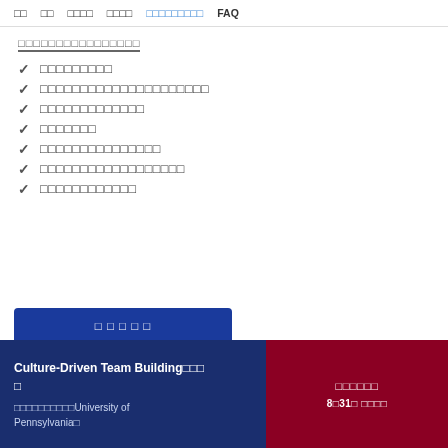□□  □□  □□□□  □□□□  □□□□□□□□□  FAQ
□□□□□□□□□□□□□□□□
✓ □□□□□□□□□
✓ □□□□□□□□□□□□□□□□□□□□□
✓ □□□□□□□□□□□□□
✓ □□□□□□□
✓ □□□□□□□□□□□□□□□
✓ □□□□□□□□□□□□□□□□□□
✓ □□□□□□□□□□□□
[Figure (other): Blue promotional card with title text and date 8□31□ □□□□]
Culture-Driven Team Building□□□□
□□□□□□□□□□University of Pennsylvania□
□□□□□□  8□31□ □□□□